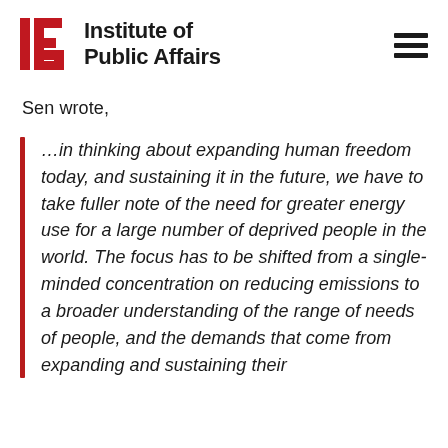Institute of Public Affairs
Sen wrote,
…in thinking about expanding human freedom today, and sustaining it in the future, we have to take fuller note of the need for greater energy use for a large number of deprived people in the world. The focus has to be shifted from a single-minded concentration on reducing emissions to a broader understanding of the range of needs of people, and the demands that come from expanding and sustaining their